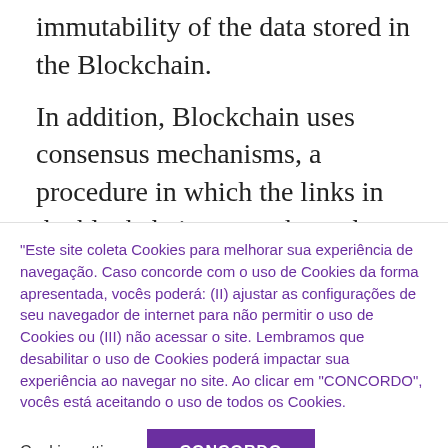immutability of the data stored in the Blockchain.
In addition, Blockchain uses consensus mechanisms, a procedure in which the links in the blockchain network reach an agreement on the state of the distributed ledger to ensure that
"Este site coleta Cookies para melhorar sua experiência de navegação. Caso concorde com o uso de Cookies da forma apresentada, vocês poderá: (II) ajustar as configurações de seu navegador de internet para não permitir o uso de Cookies ou (III) não acessar o site. Lembramos que desabilitar o uso de Cookies poderá impactar sua experiência ao navegar no site. Ao clicar em "CONCORDO", vocês está aceitando o uso de todos os Cookies.
Cookie settings
CONCORDO
READ MORE